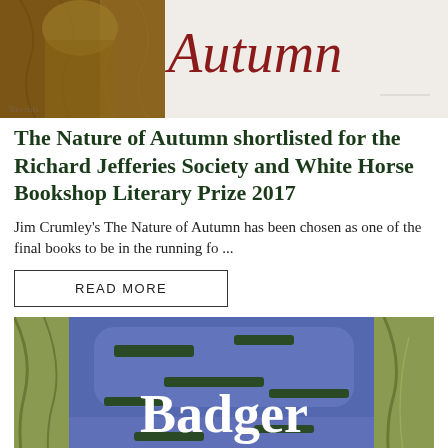[Figure (illustration): Book cover of 'The Nature of Autumn' showing a figure and the title in red/rust italic text on a light background with brown tones on the left]
The Nature of Autumn shortlisted for the Richard Jefferies Society and White Horse Bookshop Literary Prize 2017
Jim Crumley's The Nature of Autumn has been chosen as one of the final books to be in the running fo ...
READ MORE
[Figure (illustration): Book cover of 'Badger' by Jim Crumley showing illustrated trees and birds against a blue-purple background with white title text and author name]